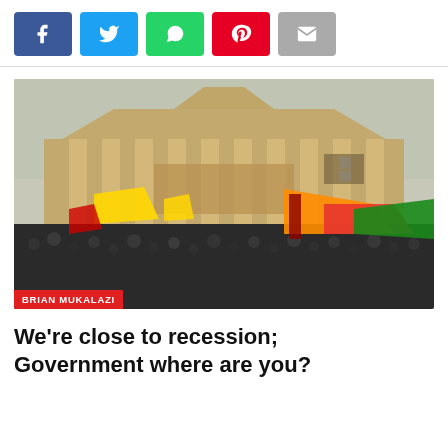[Figure (other): Social media share buttons: Facebook (blue), Twitter (light blue), WhatsApp (green), Pinterest (red), Email (gray)]
[Figure (photo): Large crowd of protesters waving Sri Lankan flags in front of a colonial-style government building with columns and a triangular pediment. Author tag reads BRIAN MUKALAZI.]
We're close to recession; Government where are you?